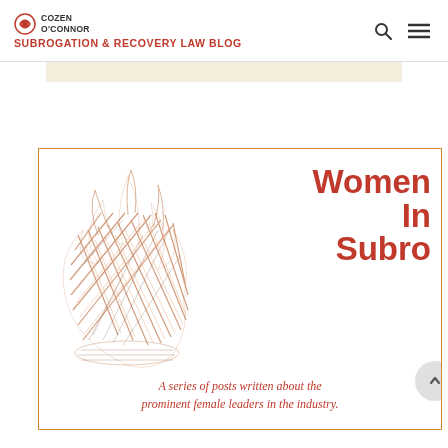COZEN O'CONNOR SUBROGATION & RECOVERY LAW BLOG
[Figure (illustration): Women In Subro promotional card with a hand-drawn flame illustration on the left and bold red text 'Women In Subro' on the right, with subtitle 'A series of posts written about the prominent female leaders in the industry.' in italic red text at the bottom. Bordered with an orange/gold rectangle.]